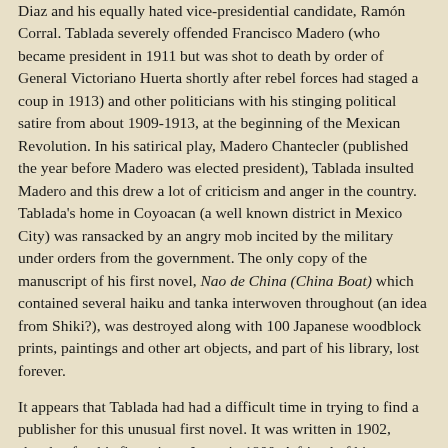Diaz and his equally hated vice-presidential candidate, Ramón Corral. Tablada severely offended Francisco Madero (who became president in 1911 but was shot to death by order of General Victoriano Huerta shortly after rebel forces had staged a coup in 1913) and other politicians with his stinging political satire from about 1909-1913, at the beginning of the Mexican Revolution. In his satirical play, Madero Chantecler (published the year before Madero was elected president), Tablada insulted Madero and this drew a lot of criticism and anger in the country. Tablada's home in Coyoacan (a well known district in Mexico City) was ransacked by an angry mob incited by the military under orders from the government. The only copy of the manuscript of his first novel, Nao de China (China Boat) which contained several haiku and tanka interwoven throughout (an idea from Shiki?), was destroyed along with 100 Japanese woodblock prints, paintings and other art objects, and part of his library, lost forever.
It appears that Tablada had had a difficult time in trying to find a publisher for this unusual first novel. It was written in 1902, shortly after his first trip to Japan in 1900. A friend of his, a millionaire by the name of Jesus Lujan, paid for his passage and living expenses. In Japan, Tablada was introduced to Okada Asataro. They quickly became friends and Tablada was thus initiated into the art of haiku and tanka. At the Bluff Gardens in Yokohama, Tablada wrote a poem containing 19 three-line